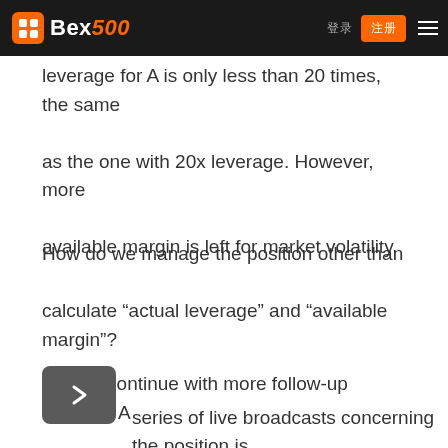Bex500 [nav links] [登录] [注册]
In the case with 100x leverage above, the actual leverage for A is only less than 20 times, the same as the one with 20x leverage. However, more available margin is left for market volatility.
How do we manage the position other than calculate “actual leverage” and “available margin”?
We will continue with more follow-up courses. A series of live broadcasts concerning the position is